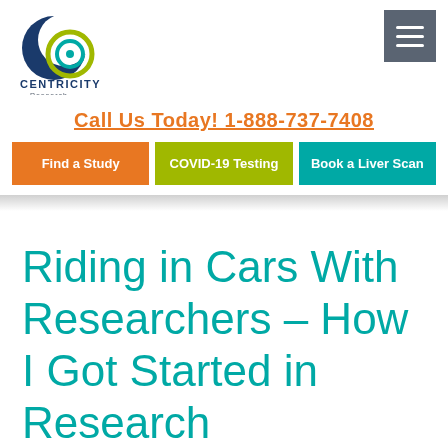[Figure (logo): Centricity Research logo — circular icon with blue crescent and green concentric circles, text 'CENTRICITY Research Clinical Solutions']
Call Us Today! 1-888-737-7408
Find a Study
COVID-19 Testing
Book a Liver Scan
Riding in Cars With Researchers – How I Got Started in Research